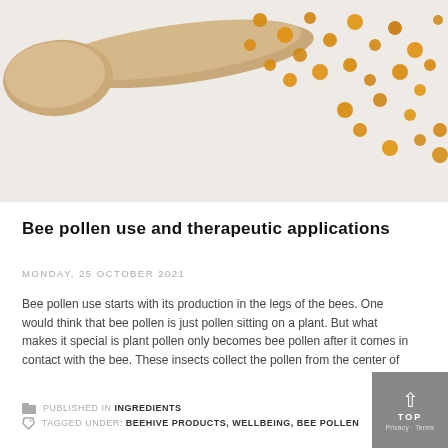[Figure (photo): Close-up photo of bee pollen granules spilling from a wooden spoon on a white surface]
Bee pollen use and therapeutic applications
MONDAY, 25 OCTOBER 2021
Bee pollen use starts with its production in the legs of the bees. One would think that bee pollen is just pollen sitting on a plant. But what makes it special is plant pollen only becomes bee pollen after it comes in contact with the bee. These insects collect the pollen from the center of
PUBLISHED IN INGREDIENTS
TAGGED UNDER: BEEHIVE PRODUCTS, WELLBEING, BEE POLLEN